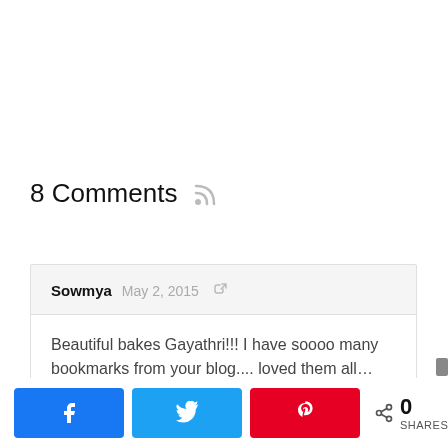8 Comments
Sowmya  May 2, 2015
Beautiful bakes Gayathri!!! I have soooo many bookmarks from your blog.... loved them all…